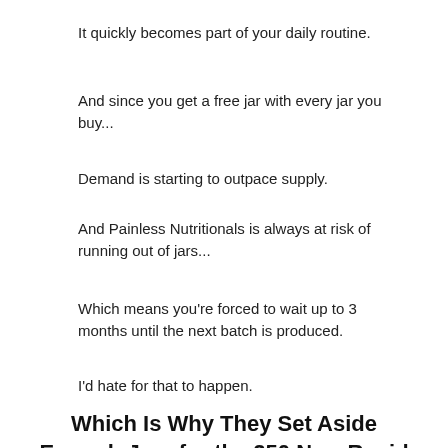It quickly becomes part of your daily routine.
And since you get a free jar with every jar you buy...
Demand is starting to outpace supply.
And Painless Nutritionals is always at risk of running out of jars...
Which means you're forced to wait up to 3 months until the next batch is produced.
I'd hate for that to happen.
Which Is Why They Set Aside Enough Jars for the 250 New Rapid Soup Diet Customers